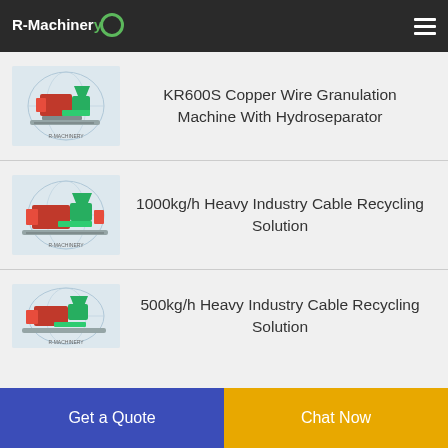R-Machinery
[Figure (illustration): 3D rendering of KR600S Copper Wire Granulation Machine with red and green industrial components]
KR600S Copper Wire Granulation Machine With Hydroseparator
[Figure (illustration): 3D rendering of 1000kg/h Heavy Industry Cable Recycling Solution with red and green industrial components on globe background]
1000kg/h Heavy Industry Cable Recycling Solution
[Figure (illustration): 3D rendering of 500kg/h Heavy Industry Cable Recycling Solution partially visible]
500kg/h Heavy Industry Cable Recycling Solution
Get a Quote
Chat Now